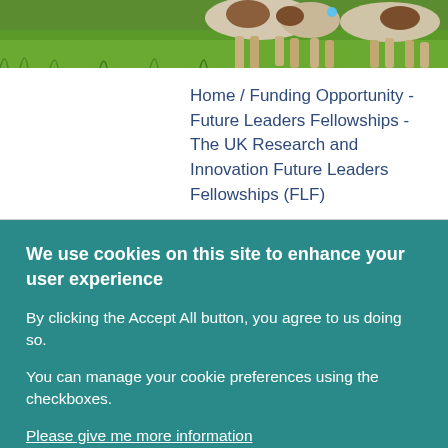[Figure (photo): Hero image showing cow legs on green grass background]
Home / Funding Opportunity - Future Leaders Fellowships - The UK Research and Innovation Future Leaders Fellowships (FLF)
We use cookies on this site to enhance your user experience
By clicking the Accept All button, you agree to us doing so.
You can manage your cookie preferences using the checkboxes.
Please give me more information
First-party cookies
Third-party cookies